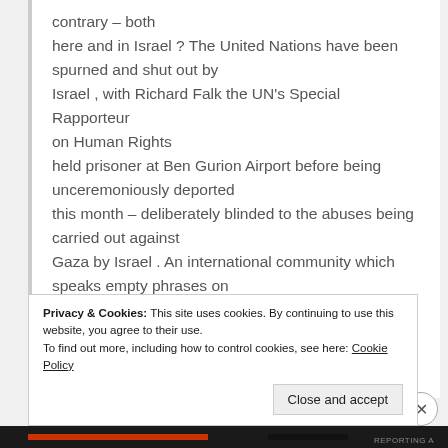contrary – both here and in Israel ? The United Nations have been spurned and shut out by Israel , with Richard Falk the UN's Special Rapporteur on Human Rights held prisoner at Ben Gurion Airport before being unceremoniously deported this month – deliberately blinded to the abuses being carried out against Gaza by Israel . An international community which speaks empty phrases on Israeli attacks 'we urge restraint…minimise civilian casualties'. The Gaza Strip is one of the most densely populated
Privacy & Cookies: This site uses cookies. By continuing to use this website, you agree to their use.
To find out more, including how to control cookies, see here: Cookie Policy